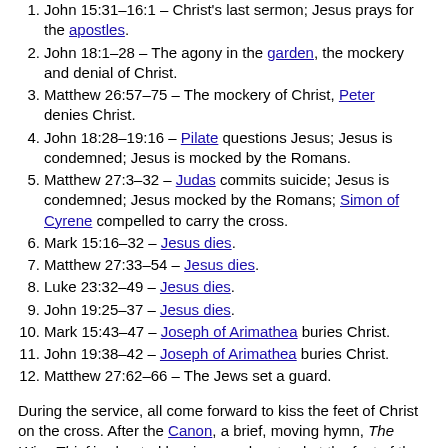1. John 15:31–16:1 – Christ's last sermon; Jesus prays for the apostles.
2. John 18:1–28 – The agony in the garden, the mockery and denial of Christ.
3. Matthew 26:57–75 – The mockery of Christ, Peter denies Christ.
4. John 18:28–19:16 – Pilate questions Jesus; Jesus is condemned; Jesus is mocked by the Romans.
5. Matthew 27:3–32 – Judas commits suicide; Jesus is condemned; Jesus mocked by the Romans; Simon of Cyrene compelled to carry the cross.
6. Mark 15:16–32 – Jesus dies.
7. Matthew 27:33–54 – Jesus dies.
8. Luke 23:32–49 – Jesus dies.
9. John 19:25–37 – Jesus dies.
10. Mark 15:43–47 – Joseph of Arimathea buries Christ.
11. John 19:38–42 – Joseph of Arimathea buries Christ.
12. Matthew 27:62–66 – The Jews set a guard.
During the service, all come forward to kiss the feet of Christ on the cross. After the Canon, a brief, moving hymn, The Wise Thief is chanted by singers who stand at the foot of the cross in the center of the nave. The service does not end with the First Hour, as usual, but with a special dismissal by the priest:
May Christ our true God, Who for the salvation of the